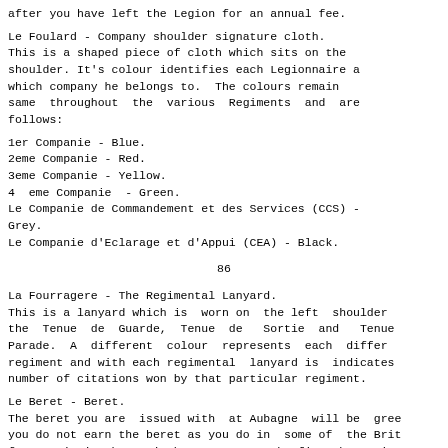after you have left the Legion for an annual fee.
Le Foulard - Company shoulder signature cloth.
This is a shaped piece of cloth which sits on the shoulder. It's colour identifies each Legionnaire a which company he belongs to. The colours remain same throughout the various Regiments and are follows:
1er Companie - Blue.
2eme Companie - Red.
3eme Companie - Yellow.
4  eme Companie  - Green.
Le Companie de Commandement et des Services (CCS) -
Grey.
Le Companie d'Eclarage et d'Appui (CEA) - Black.
86
La Fourragere - The Regimental Lanyard.
This is a lanyard which is worn on the left shoulder the Tenue de Guarde, Tenue de Sortie and Tenue Parade. A different colour represents each differ regiment and with each regimental lanyard is indicates number of citations won by that particular regiment.
Le Beret - Beret.
The beret you are issued with at Aubagne will be gree you do not earn the beret as you do in some of the Brit forces; it is the Kepi that you earn. The first beret iss